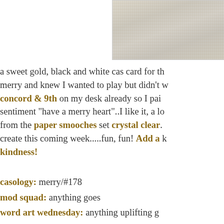[Figure (photo): Partial photo of a card with white/cream and gold textured background, cropped at top right of page]
a sweet gold, black and white cas card for th merry and knew I wanted to play but didn't w concord & 9th on my desk already so I pai sentiment "have a merry heart"..I like it, a lo from the paper smooches set crystal clear. create this coming week.....fun, fun! Add a kindness!
casology: merry/#178
mod squad: anything goes
word art wednesday: anything uplifting g